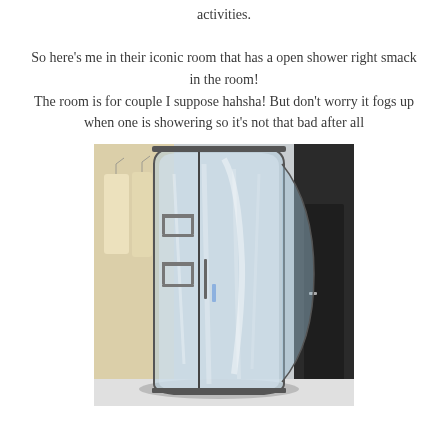activities.

So here's me in their iconic room that has a open shower right smack in the room! The room is for couple I suppose hahsha! But don't worry it fogs up when one is showering so it's not that bad after all
[Figure (photo): A curved glass shower enclosure in a hotel room, with fogged glass panels and metal handles/shelving visible. A wardrobe with hanging clothes is visible to the left, and a dark wood door is visible to the right.]